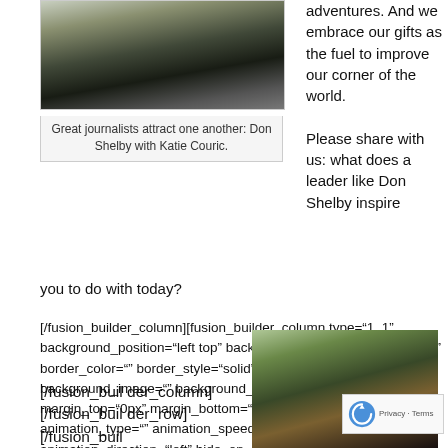[Figure (photo): Photo of Don Shelby with Katie Couric, two journalists together]
Great journalists attract one another: Don Shelby with Katie Couric.
adventures. And we embrace our gifts as the fuel to improve our corner of the world.

Please share with us: what does a leader like Don Shelby inspire you to do with today?
[/fusion_builder_column][fusion_builder_column type="1_1" background_position="left top" background_color="" border_size="" border_color="" border_style="solid" spacing="yes" background_image="" background_repeat="no-repeat" padding="" margin_top="0px" margin_bottom="0px" class="" id="" animation_type="" animation_speed="0.3" animation_direction="left" hide_on_mobile="no" center_content="no" min_height="none"]
[/fusion_builder_column] [/fusion_builder_row] [/fusion_buil
[Figure (photo): Outdoor winter photo showing people in snowy conditions with trees in background]
[Figure (logo): reCAPTCHA logo with Privacy and Terms text]